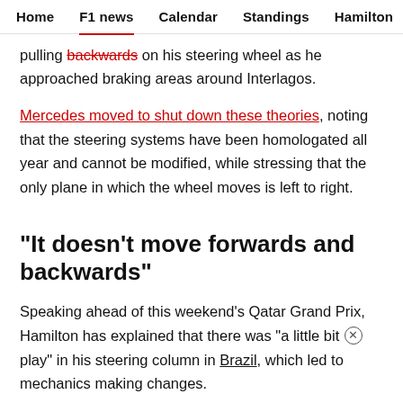Home  F1 news  Calendar  Standings  Hamilton
pulling backwards on his steering wheel as he approached braking areas around Interlagos.
Mercedes moved to shut down these theories, noting that the steering systems have been homologated all year and cannot be modified, while stressing that the only plane in which the wheel moves is left to right.
"It doesn't move forwards and backwards"
Speaking ahead of this weekend's Qatar Grand Prix, Hamilton has explained that there was "a little bit of play" in his steering column in Brazil, which led to mechanics making changes.